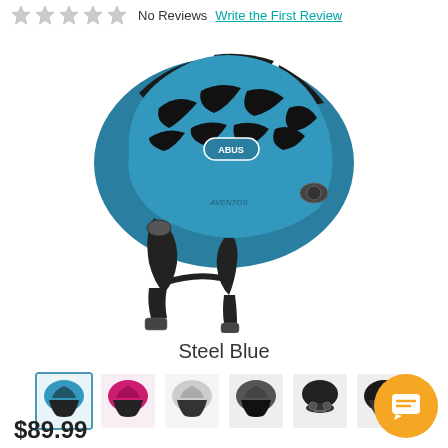[Figure (other): Five empty gray star rating icons indicating no reviews]
No Reviews
Write the First Review
[Figure (photo): ABUS Aventos road cycling helmet in Steel Blue color with black ventilation stripes and chin straps]
Steel Blue
[Figure (other): Six color swatch thumbnails for a cycling helmet: Steel Blue (selected with border), Pink/Magenta, Silver/White, Dark Gray, Black front view, Black side view]
$89.99